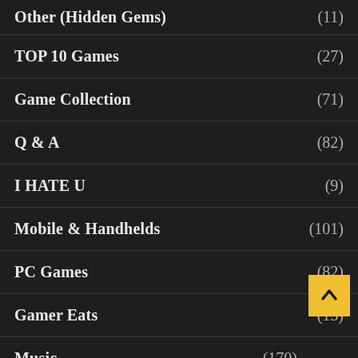Other (Hidden Gems) (11)
TOP 10 Games (27)
Game Collection (71)
Q & A (82)
I HATE U (9)
Mobile & Handhelds (101)
PC Games (82)
Gamer Eats (13)
Music (170)
Vintage (23)